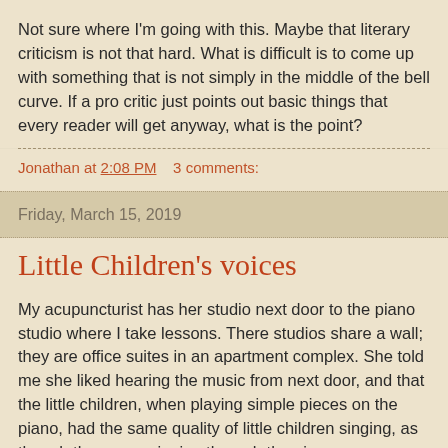Not sure where I'm going with this. Maybe that literary criticism is not that hard. What is difficult is to come up with something that is not simply in the middle of the bell curve. If a pro critic just points out basic things that every reader will get anyway, what is the point?
Jonathan at 2:08 PM   3 comments:
Friday, March 15, 2019
Little Children's voices
My acupuncturist has her studio next door to the piano studio where I take lessons. There studios share a wall; they are office suites in an apartment complex. She told me she liked hearing the music from next door, and that the little children, when playing simple pieces on the piano, had the same quality of little children singing, as though they were singing through the piano.